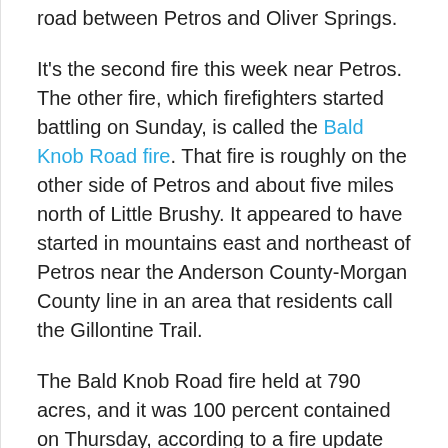road between Petros and Oliver Springs.
It's the second fire this week near Petros. The other fire, which firefighters started battling on Sunday, is called the Bald Knob Road fire. That fire is roughly on the other side of Petros and about five miles north of Little Brushy. It appeared to have started in mountains east and northeast of Petros near the Anderson County-Morgan County line in an area that residents call the Gillontine Trail.
The Bald Knob Road fire held at 790 acres, and it was 100 percent contained on Thursday, according to a fire update from the Tennessee Division of Forestry early Thursday afternoon. Arson is also suspected in that fire. [Read more…]